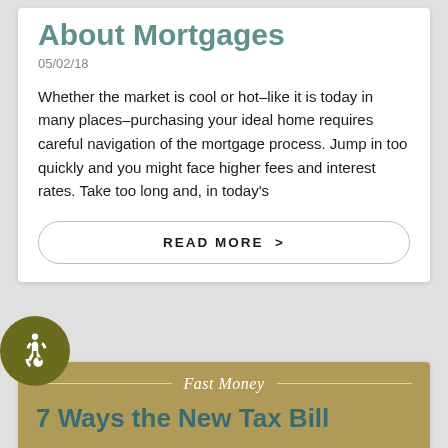About Mortgages
05/02/18
Whether the market is cool or hot–like it is today in many places–purchasing your ideal home requires careful navigation of the mortgage process. Jump in too quickly and you might face higher fees and interest rates. Take too long and, in today's
READ MORE >
Fast Money
7 Ways the New Tax Bill